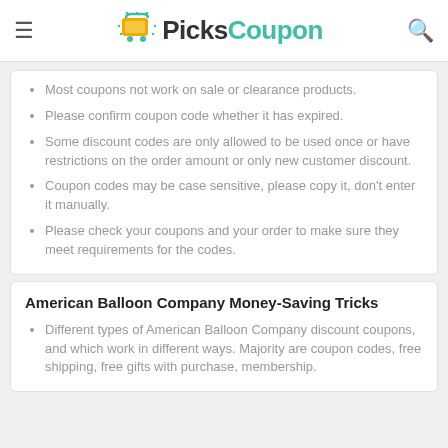PicksCoupon
Most coupons not work on sale or clearance products.
Please confirm coupon code whether it has expired.
Some discount codes are only allowed to be used once or have restrictions on the order amount or only new customer discount.
Coupon codes may be case sensitive, please copy it, don't enter it manually.
Please check your coupons and your order to make sure they meet requirements for the codes.
American Balloon Company Money-Saving Tricks
Different types of American Balloon Company discount coupons, and which work in different ways. Majority are coupon codes, free shipping, free gifts with purchase, membership.